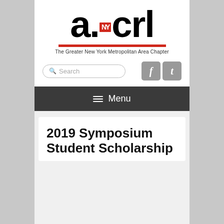[Figure (logo): ACRL NY logo — large bold black letters 'acrl' with a red 'NY' badge replacing the dot over the 'i', a red horizontal rule underneath, and the subtitle 'The Greater New York Metropolitan Area Chapter']
[Figure (screenshot): Search bar with magnifying glass icon and placeholder text 'Search', alongside two grey social media buttons for Facebook (f) and Twitter (t)]
≡ Menu
2019 Symposium Student Scholarship